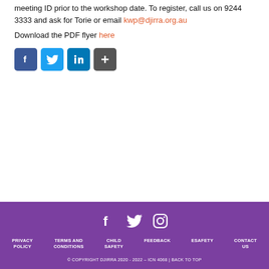meeting ID prior to the workshop date. To register, call us on 9244 3333 and ask for Torie or email kwp@djirra.org.au
Download the PDF flyer here
[Figure (other): Social media share buttons: Facebook, Twitter, LinkedIn, Share (plus icon)]
[Figure (other): Footer social media icons: Facebook, Twitter, Instagram]
PRIVACY POLICY  TERMS AND CONDITIONS  CHILD SAFETY  FEEDBACK  ESAFETY  CONTACT US
© COPYRIGHT DJIRRA 2020 - 2022 – ICN 4068 | BACK TO TOP